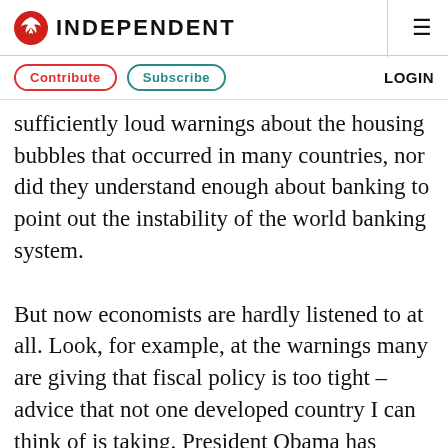INDEPENDENT
Contribute  Subscribe  LOGIN
sufficiently loud warnings about the housing bubbles that occurred in many countries, nor did they understand enough about banking to point out the instability of the world banking system.
But now economists are hardly listened to at all. Look, for example, at the warnings many are giving that fiscal policy is too tight – advice that not one developed country I can think of is taking. President Obama has launched his